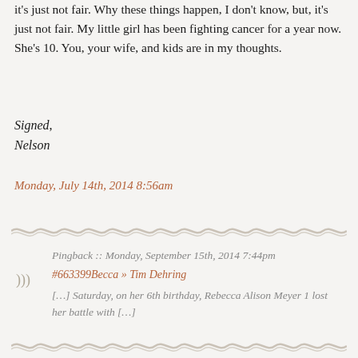it's just not fair. Why these things happen, I don't know, but, it's just not fair. My little girl has been fighting cancer for a year now. She's 10. You, your wife, and kids are in my thoughts.
Signed,
Nelson
Monday, July 14th, 2014 8:56am
[Figure (illustration): Decorative wavy line divider]
Pingback :: Monday, September 15th, 2014 7:44pm
#663399Becca » Tim Dehring
[…] Saturday, on her 6th birthday, Rebecca Alison Meyer 1 lost her battle with […]
[Figure (illustration): Decorative wavy line divider]